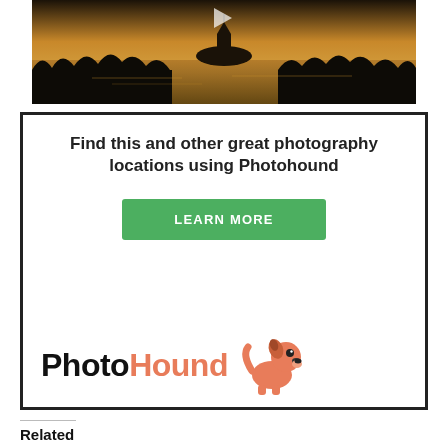[Figure (photo): Aerial/landscape photo of Lake Bled with island and castle silhouette against a golden sunset sky, dark tree line in foreground]
[Figure (infographic): Advertisement box with dark border. Headline: 'Find this and other great photography locations using Photohound'. Green 'LEARN MORE' button. PhotoHound logo with cartoon dog icon at bottom.]
Related